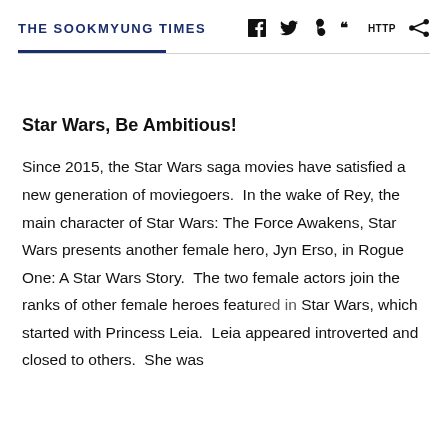THE SOOKMYUNG TIMES
Star Wars, Be Ambitious!
Since 2015, the Star Wars saga movies have satisfied a new generation of moviegoers.  In the wake of Rey, the main character of Star Wars: The Force Awakens, Star Wars presents another female hero, Jyn Erso, in Rogue One: A Star Wars Story.  The two female actors join the ranks of other female heroes featured in Star Wars, which started with Princess Leia.  Leia appeared introverted and closed to others.  She was